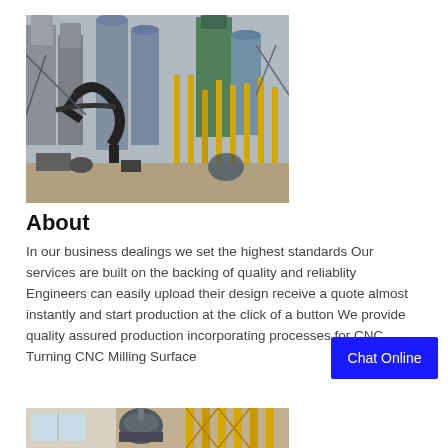[Figure (photo): Industrial facility with silos, conveyors, dust collection pipes, and yellow structural columns on a construction site]
About
In our business dealings we set the highest standards Our services are built on the backing of quality and reliablity Engineers can easily upload their design receive a quote almost instantly and start production at the click of a button We provide quality assured production incorporating processes for CNC Turning CNC Milling Surface
Chat Online
[Figure (photo): Industrial interior showing a large mixing drum and yellow structural framework]